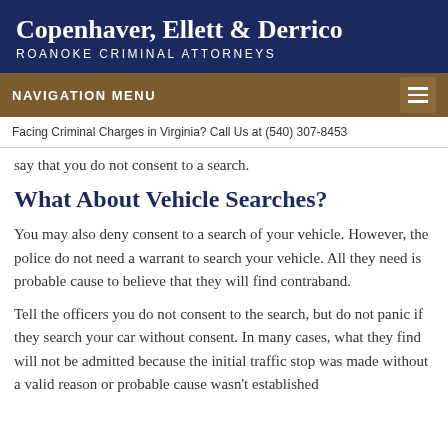Copenhaver, Ellett & Derrico
ROANOKE CRIMINAL ATTORNEYS
NAVIGATION MENU
Facing Criminal Charges in Virginia? Call Us at (540) 307-8453
say that you do not consent to a search.
What About Vehicle Searches?
You may also deny consent to a search of your vehicle. However, the police do not need a warrant to search your vehicle. All they need is probable cause to believe that they will find contraband.
Tell the officers you do not consent to the search, but do not panic if they search your car without consent. In many cases, what they find will not be admitted because the initial traffic stop was made without a valid reason or probable cause wasn't established